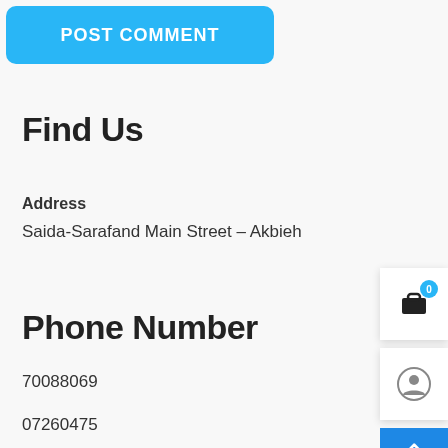[Figure (other): Blue 'POST COMMENT' button with rounded corners]
Find Us
Address
Saida-Sarafand Main Street – Akbieh
Phone Number
70088069
07260475